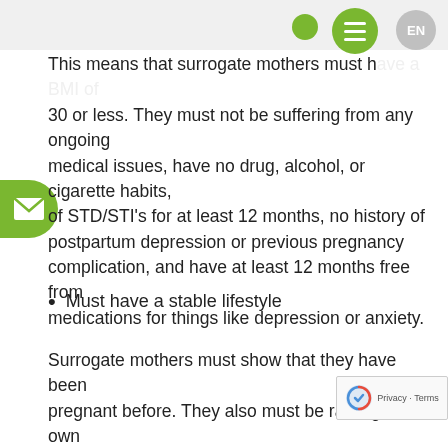This means that surrogate mothers must have a BMI of 30 or less. They must not be suffering from any ongoing medical issues, have no drug, alcohol, or cigarette habits, be free of STD/STI's for at least 12 months, no history of postpartum depression or previous pregnancy complication, and have at least 12 months free from medications for things like depression or anxiety.
Must have a stable lifestyle
Surrogate mothers must show that they have been pregnant before. They also must be raising their own children in their own stable home. Specifically, in the US, surrogate mothers can not be dependent on government assistance and have their own stable support system. They also must be free from any felony convictions and have at least one years time between their last tattoo or piercing.